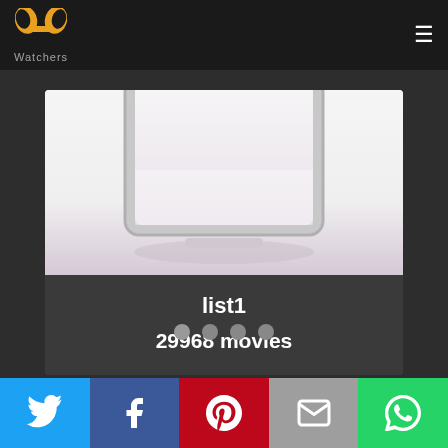PP Watchers
[Figure (screenshot): A screenshot of a mobile/web app showing a list card with a tablet/laptop graphic image. The card displays 'list1' as the title and '29968 movies' as the count. Below the card are four grey dots (pagination indicators). The header shows the PP Watchers logo and a hamburger menu icon.]
list1
29968 movies
Twitter | Facebook | Pinterest | Email | WhatsApp